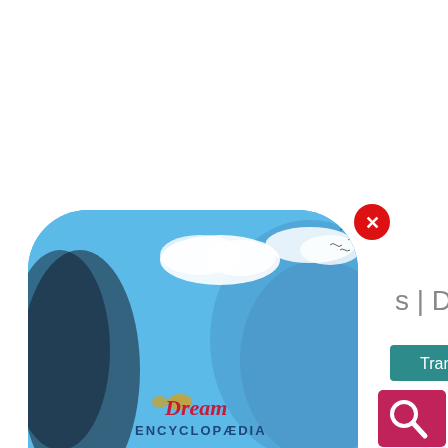[Figure (screenshot): Screenshot of a webpage showing a Dream Encyclopedia logo popup/modal with a globe image featuring blue skies and clouds, a red close button, and a teal 'Transactions' button. The page title reads 's | Dream' and navigation includes 'ream: Transactions'. A pink/magenta search button with magnifying glass icon is in the bottom right corner.]